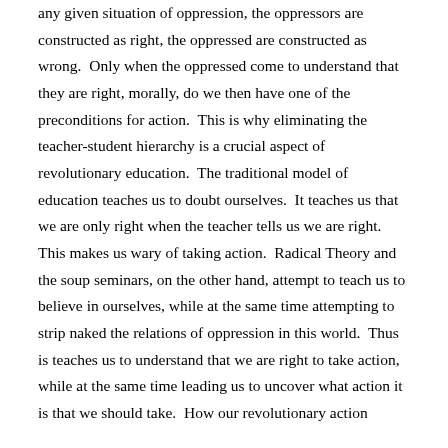any given situation of oppression, the oppressors are constructed as right, the oppressed are constructed as wrong.  Only when the oppressed come to understand that they are right, morally, do we then have one of the preconditions for action.  This is why eliminating the teacher-student hierarchy is a crucial aspect of revolutionary education.  The traditional model of education teaches us to doubt ourselves.  It teaches us that we are only right when the teacher tells us we are right.  This makes us wary of taking action.  Radical Theory and the soup seminars, on the other hand, attempt to teach us to believe in ourselves, while at the same time attempting to strip naked the relations of oppression in this world.  Thus is teaches us to understand that we are right to take action, while at the same time leading us to uncover what action it is that we should take.  How our revolutionary action